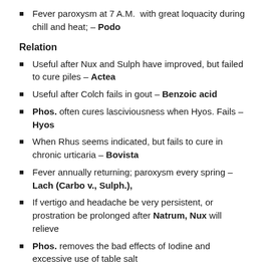Fever paroxysm at 7 A.M. with great loquacity during chill and heat; – Podo
Relation
Useful after Nux and Sulph have improved, but failed to cure piles – Actea
Useful after Colch fails in gout – Benzoic acid
Phos. often cures lasciviousness when Hyos. Fails – Hyos
When Rhus seems indicated, but fails to cure in chronic urticaria – Bovista
Fever annually returning; paroxysm every spring – Lach (Carbo v., Sulph.),
If vertigo and headache be very persistent, or prostration be prolonged after Natrum, Nux will relieve
Phos. removes the bad effects of Iodine and excessive use of table salt
Sulphur follows Psorinum well, in mammary cancer
Has cured colic after Col. and Nux had failed – Collinsonia